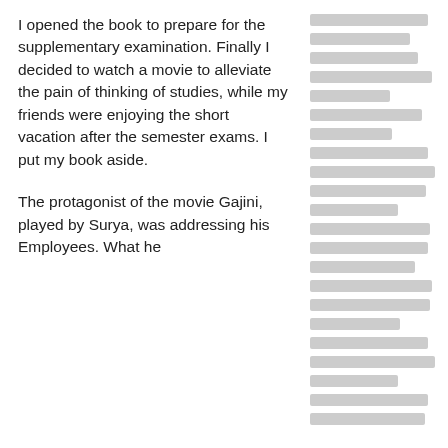I opened the book to prepare for the supplementary examination. Finally I decided to watch a movie to alleviate the pain of thinking of studies, while my friends were enjoying the short vacation after the semester exams. I put my book aside.
[Figure (other): Right column containing redacted/obfuscated text lines rendered as grey rectangles, corresponding to the left column text paragraphs.]
The protagonist of the movie Gajini, played by Surya, was addressing his Employees. What he